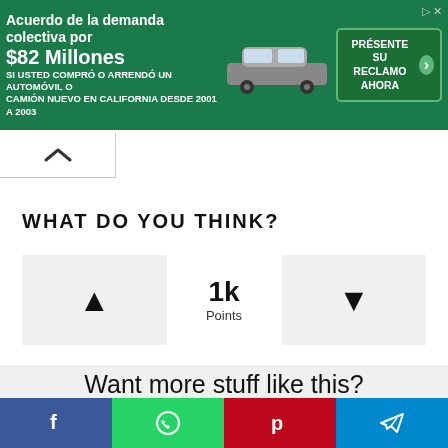[Figure (screenshot): Advertisement banner in green: 'Acuerdo de la demanda colectiva por $82 Millones' with car image and CTA button 'PRÉSENTE SU RECLAMO AHORA']
[Figure (other): Back/collapse chevron button]
WHAT DO YOU THINK?
[Figure (infographic): Voting widget with up arrow, 1k Points center, down arrow]
Want more stuff like this?
Get the best viral stories straight into your inbox!
[Figure (infographic): Social share bar with Facebook, WhatsApp, Pinterest, Telegram buttons]